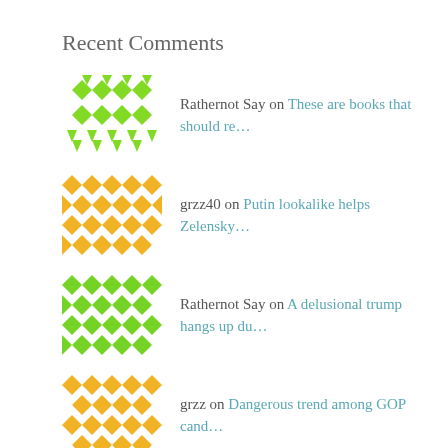Recent Comments
Rathernot Say on These are books that should re…
grzz40 on Putin lookalike helps Zelensky…
Rathernot Say on A delusional trump hangs up du…
grzz on Dangerous trend among GOP cand…
Rathernot Say on Seeing squares: Japan's…
J on 'We Are as Gods and Might as W…